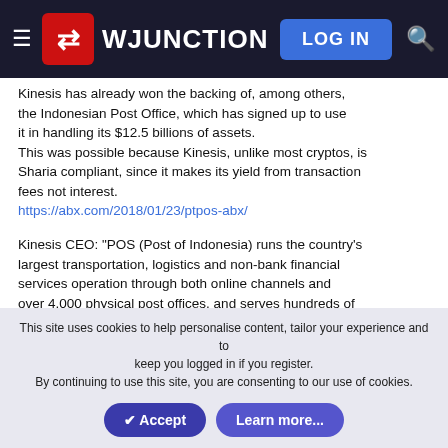WJUNCTION
Kinesis has already won the backing of, among others, the Indonesian Post Office, which has signed up to use it in handling its $12.5 billions of assets.
This was possible because Kinesis, unlike most cryptos, is Sharia compliant, since it makes its yield from transaction fees not interest.
https://abx.com/2018/01/23/ptpos-abx/
Kinesis CEO: "POS (Post of Indonesia) runs the country's largest transportation, logistics and non-bank financial services operation through both online channels and over 4,000 physical post offices, and serves hundreds of millions of Indonesians each year.
Bringing innovative gold trading and investment products and cutting-edge technologies in partnership
This site uses cookies to help personalise content, tailor your experience and to keep you logged in if you register.
By continuing to use this site, you are consenting to our use of cookies.